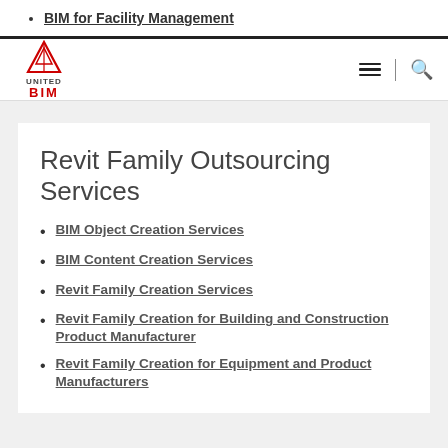BIM for Facility Management
[Figure (logo): United BIM logo with red triangle/mountain icon above the text UNITED in grey and BIM in red]
Revit Family Outsourcing Services
BIM Object Creation Services
BIM Content Creation Services
Revit Family Creation Services
Revit Family Creation for Building and Construction Product Manufacturer
Revit Family Creation for Equipment and Product Manufacturers